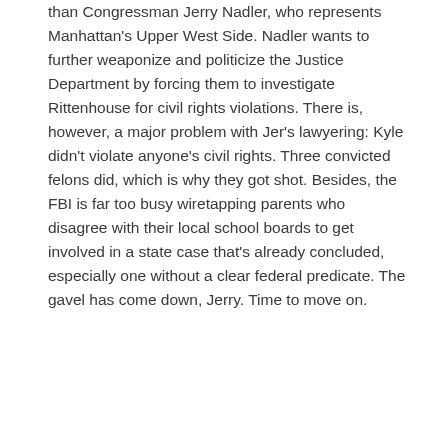than Congressman Jerry Nadler, who represents Manhattan's Upper West Side. Nadler wants to further weaponize and politicize the Justice Department by forcing them to investigate Rittenhouse for civil rights violations. There is, however, a major problem with Jer's lawyering: Kyle didn't violate anyone's civil rights. Three convicted felons did, which is why they got shot. Besides, the FBI is far too busy wiretapping parents who disagree with their local school boards to get involved in a state case that's already concluded, especially one without a clear federal predicate. The gavel has come down, Jerry. Time to move on.